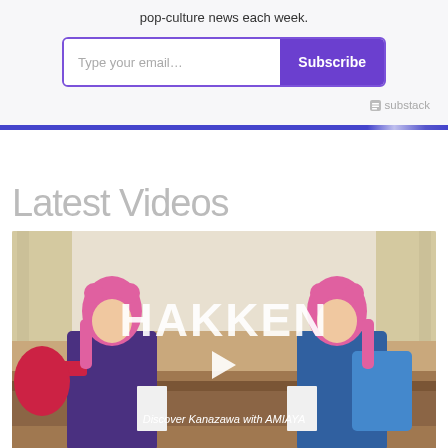pop-culture news each week.
[Figure (screenshot): Email subscription widget with 'Type your email...' input field and 'Subscribe' purple button]
[Figure (logo): Substack logo with small icon and text 'substack']
Latest Videos
[Figure (screenshot): Video thumbnail for HAKKEN - Discover Kanazawa with AMIAYA, showing two women with pink hair in colorful outfits, with large HAKKEN text overlay and play button]